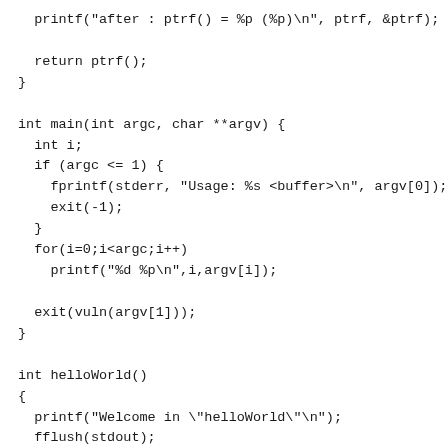printf("after : ptrf() = %p (%p)\n", ptrf, &ptrf);

  return ptrf();
}

int main(int argc, char **argv) {
  int i;
  if (argc <= 1) {
    fprintf(stderr, "Usage: %s <buffer>\n", argv[0]);
    exit(-1);
  }
  for(i=0;i<argc;i++)
    printf("%d %p\n",i,argv[i]);

  exit(vuln(argv[1]));
}

int helloWorld()
{
  printf("Welcome in \"helloWorld\"\n");
  fflush(stdout);
  return 0;
}

int accessForbidden()
{
  printf("You shouldn't be here \"acesForbidden\"\n");
  fflush(stdout);
  return 0;